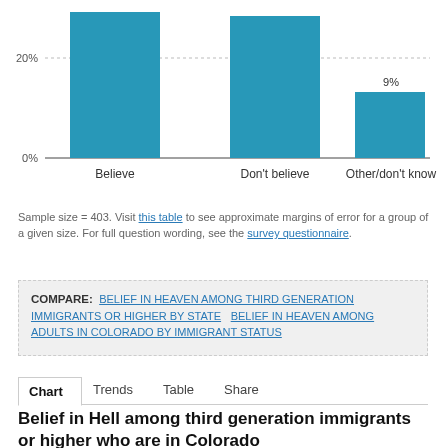[Figure (bar-chart): ]
Sample size = 403. Visit this table to see approximate margins of error for a group of a given size. For full question wording, see the survey questionnaire.
COMPARE: BELIEF IN HEAVEN AMONG THIRD GENERATION IMMIGRANTS OR HIGHER BY STATE   BELIEF IN HEAVEN AMONG ADULTS IN COLORADO BY IMMIGRANT STATUS
Chart   Trends   Table   Share
Belief in Hell among third generation immigrants or higher who are in Colorado